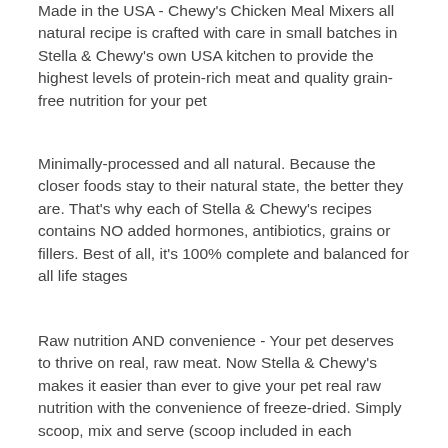Made in the USA - Chewy's Chicken Meal Mixers all natural recipe is crafted with care in small batches in Stella & Chewy's own USA kitchen to provide the highest levels of protein-rich meat and quality grain-free nutrition for your pet
Minimally-processed and all natural. Because the closer foods stay to their natural state, the better they are. That's why each of Stella & Chewy's recipes contains NO added hormones, antibiotics, grains or fillers. Best of all, it's 100% complete and balanced for all life stages
Raw nutrition AND convenience - Your pet deserves to thrive on real, raw meat. Now Stella & Chewy's makes it easier than ever to give your pet real raw nutrition with the convenience of freeze-dried. Simply scoop, mix and serve (scoop included in each